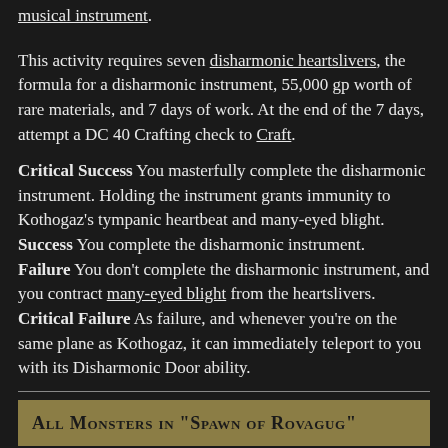musical instrument.
This activity requires seven disharmonic heartslivers, the formula for a disharmonic instrument, 55,000 gp worth of rare materials, and 7 days of work. At the end of the 7 days, attempt a DC 40 Crafting check to Craft.
Critical Success You masterfully complete the disharmonic instrument. Holding the instrument grants immunity to Kothogaz's tympanic heartbeat and many-eyed blight.
Success You complete the disharmonic instrument.
Failure You don't complete the disharmonic instrument, and you contract many-eyed blight from the heartslivers.
Critical Failure As failure, and whenever you're on the same plane as Kothogaz, it can immediately teleport to you with its Disharmonic Door ability.
All Monsters in "Spawn of Rovagug"